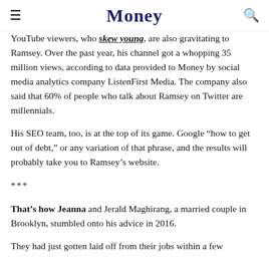Money
YouTube viewers, who skew young, are also gravitating to Ramsey. Over the past year, his channel got a whopping 35 million views, according to data provided to Money by social media analytics company ListenFirst Media. The company also said that 60% of people who talk about Ramsey on Twitter are millennials.
His SEO team, too, is at the top of its game. Google “how to get out of debt,” or any variation of that phrase, and the results will probably take you to Ramsey’s website.
***
That’s how Jeanna and Jerald Maghirang, a married couple in Brooklyn, stumbled onto his advice in 2016.
They had just gotten laid off from their jobs within a few